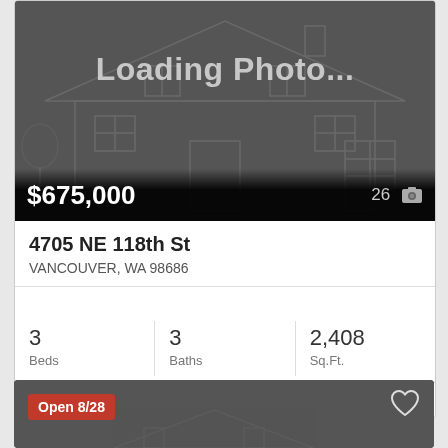[Figure (photo): Loading photo placeholder with house wireframe illustration on dark background]
$675,000
26 📷
4705 NE 118th St
VANCOUVER, WA 98686
3 Beds | 3 Baths | 2,408 Sq.Ft.
RMLS Windermere Northwest Living
Open 8/28